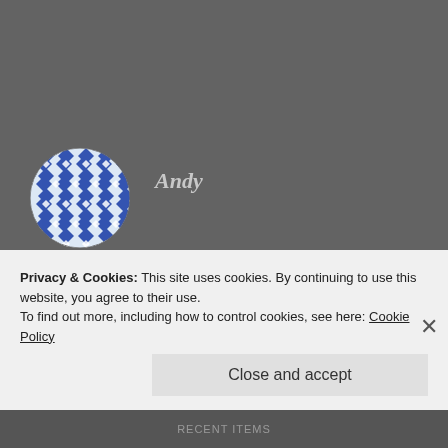[Figure (illustration): Circular avatar with blue and white geometric/floral tile pattern on dark background]
Andy
30. AUGUST 2014 AT 09:22
I think the list is a quite comprehensive one and adds many questions regarding the motives behind every single omission.
I wanted to cry myself out more on this subject, but i guess it's pointless. Let's hope it's not too
Privacy & Cookies: This site uses cookies. By continuing to use this website, you agree to their use.
To find out more, including how to control cookies, see here: Cookie Policy
Close and accept